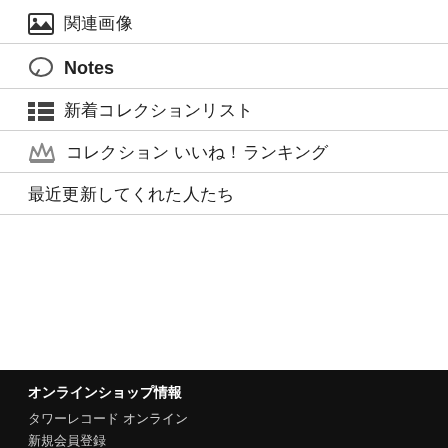関連画像
Notes
新着コレクションリスト
コレクション いいね！ランキング
最近更新してくれた人たち
オンラインショップ情報
タワーレコード オンライン
新規会員登録